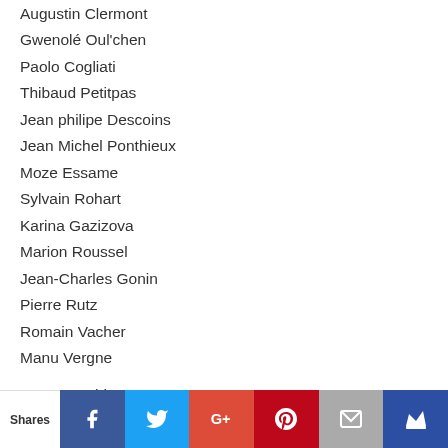Augustin Clermont
Gwenolé Oul'chen
Paolo Cogliati
Thibaud Petitpas
Jean philipe Descoins
Jean Michel Ponthieux
Moze Essame
Sylvain Rohart
Karina Gazizova
Marion Roussel
Jean-Charles Gonin
Pierre Rutz
Romain Vacher
Manu Vergne
CG Internship
Charles Lemor
Rebecca Joly
Shares | Facebook | Twitter | Google+ | Pinterest | Email | Crown